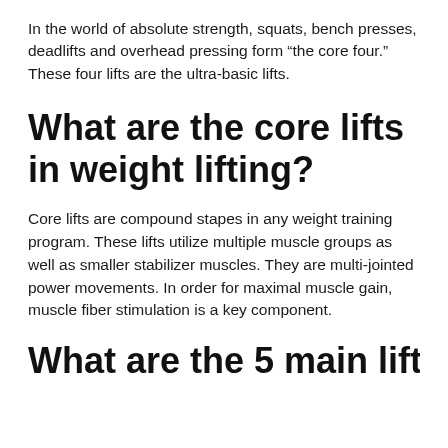In the world of absolute strength, squats, bench presses, deadlifts and overhead pressing form “the core four.” These four lifts are the ultra-basic lifts.
What are the core lifts in weight lifting?
Core lifts are compound stapes in any weight training program. These lifts utilize multiple muscle groups as well as smaller stabilizer muscles. They are multi-jointed power movements. In order for maximal muscle gain, muscle fiber stimulation is a key component.
What are the 5 main lifts?